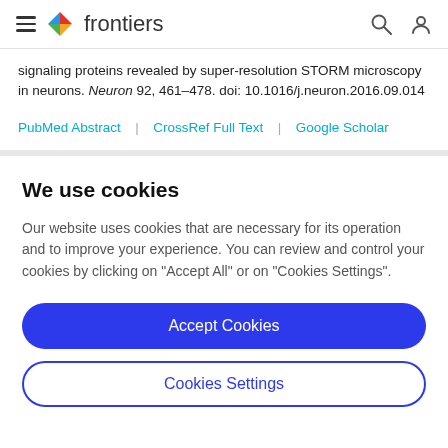frontiers
signaling proteins revealed by super-resolution STORM microscopy in neurons. Neuron 92, 461–478. doi: 10.1016/j.neuron.2016.09.014
PubMed Abstract | CrossRef Full Text | Google Scholar
We use cookies
Our website uses cookies that are necessary for its operation and to improve your experience. You can review and control your cookies by clicking on "Accept All" or on "Cookies Settings".
Accept Cookies
Cookies Settings